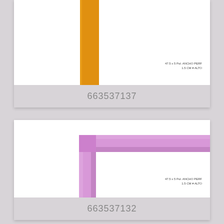[Figure (photo): Orange/yellow picture frame corner piece shown as an L-shape, cropped to show vertical bar against white background. Small text in bottom right reads dimensions/product info.]
663537137
[Figure (photo): Pink/lavender picture frame corner piece shown as an L-shape against white background, with small brown wood end visible at top right. Small text in bottom right reads dimensions/product info.]
663537132